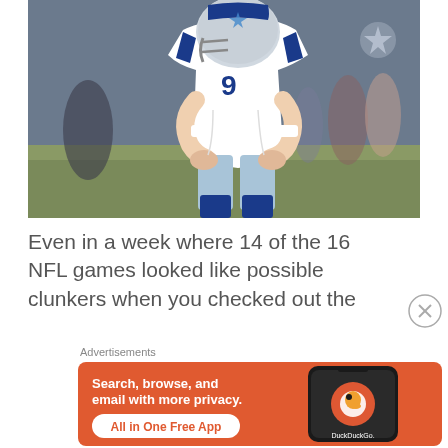[Figure (photo): Dallas Cowboys NFL player wearing number 9 jersey and helmet, bent over on the field in a dejected pose. Blurred stadium background with cheerleaders visible.]
Even in a week where 14 of the 16 NFL games looked like possible clunkers when you checked out the
[Figure (other): DuckDuckGo advertisement with orange background. Text reads: Search, browse, and email with more privacy. All in One Free App. Shows a smartphone with the DuckDuckGo duck logo.]